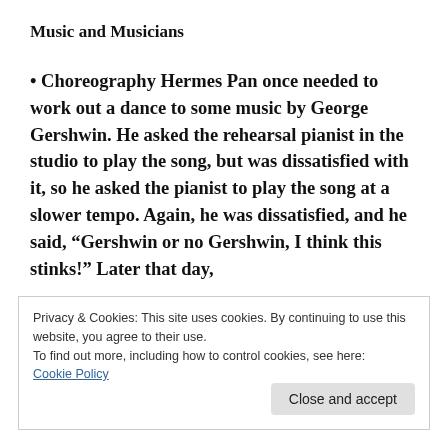Music and Musicians
• Choreography Hermes Pan once needed to work out a dance to some music by George Gershwin. He asked the rehearsal pianist in the studio to play the song, but was dissatisfied with it, so he asked the pianist to play the song at a slower tempo. Again, he was dissatisfied, and he said, “Gershwin or no Gershwin, I think this stinks!” Later that day,
Privacy & Cookies: This site uses cookies. By continuing to use this website, you agree to their use.
To find out more, including how to control cookies, see here:
Cookie Policy
Close and accept